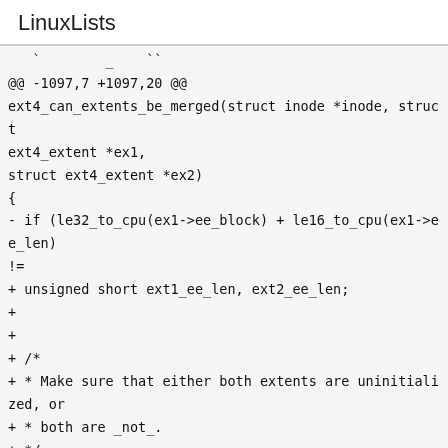LinuxLists
@@ -1097,7 +1097,20 @@
ext4_can_extents_be_merged(struct inode *inode, struct ext4_extent *ex1,
struct ext4_extent *ex2)
{
- if (le32_to_cpu(ex1->ee_block) + le16_to_cpu(ex1->ee_len) !=
+ unsigned short ext1_ee_len, ext2_ee_len;
+
+
+ /*
+ * Make sure that either both extents are uninitialized, or
+ * both are _not_.
+ */
+ if (ext4_ext_is_uninitialized(ex1) ^
ext4_ext_is_uninitialized(ex2))